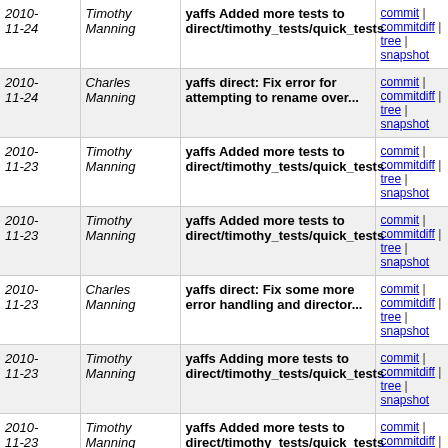| Date | Author | Message | Links |
| --- | --- | --- | --- |
| 2010-11-24 | Timothy Manning | yaffs Added more tests to direct/timothy_tests/quick_tests | commit | commitdiff | tree | snapshot |
| 2010-11-24 | Charles Manning | yaffs direct: Fix error for attempting to rename over... | commit | commitdiff | tree | snapshot |
| 2010-11-23 | Timothy Manning | yaffs Added more tests to direct/timothy_tests/quick_tests | commit | commitdiff | tree | snapshot |
| 2010-11-23 | Timothy Manning | yaffs Added more tests to direct/timothy_tests/quick_tests | commit | commitdiff | tree | snapshot |
| 2010-11-23 | Charles Manning | yaffs direct: Fix some more error handling and director... | commit | commitdiff | tree | snapshot |
| 2010-11-23 | Timothy Manning | yaffs Adding more tests to direct/timothy_tests/quick_tests | commit | commitdiff | tree | snapshot |
| 2010-11-23 | Timothy Manning | yaffs Added more tests to direct/timothy_tests/quick_tests | commit | commitdiff | tree | snapshot |
| 2010-11-23 | Timothy Manning | yaffs More tests for direct/timothy_tests/quick_tests | commit | commitdiff | tree | snapshot |
| 2010-11-22 | Timothy Manning | yaffs Adding new tests to direct/timothy_tests/quicktests/ | commit | commitdiff | tree | snapshot |
| 2010-11-22 | Timothy Manning | yaffs More tests added to direct/timothy_tests/quick_tests/ | commit | commitdiff | tree | snapshot |
| 2010- | Timothy Manning | yaffs More tests added to | commit | |